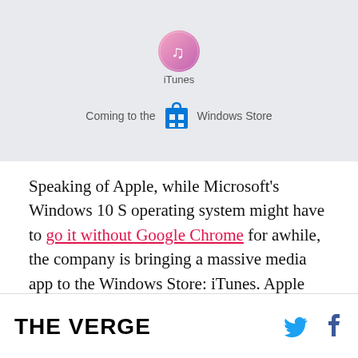[Figure (screenshot): Screenshot showing iTunes label and 'Coming to the Windows Store' text with Windows Store bag icon on a light gray background]
Speaking of Apple, while Microsoft's Windows 10 S operating system might have to go it without Google Chrome for awhile, the company is bringing a massive media app to the Windows Store: iTunes. Apple will release a version of iTunes in Microsoft's digital store by the end of 2017, so it might not be there in time for next month's launch of the Surface Laptop.
THE VERGE